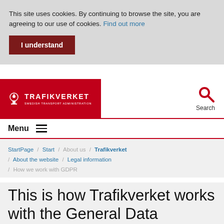This site uses cookies. By continuing to browse the site, you are agreeing to our use of cookies. Find out more
I understand
[Figure (logo): Trafikverket logo — white crown icon and bold white text TRAFIKVERKET on red background, with tagline SWEDISH TRANSPORT ADMINISTRATION]
Search
Menu
StartPage / Start / About us / Trafikverket / About the website / Legal information / How we work with GDPR
This is how Trafikverket works with the General Data Protection Regulation (GDPR)